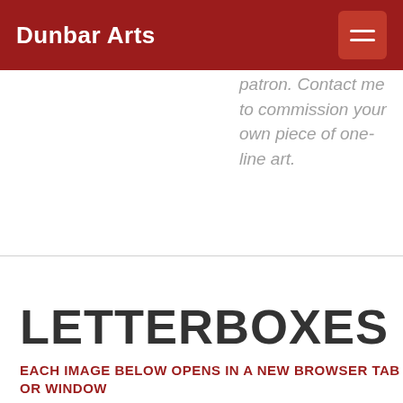Dunbar Arts
patron. Contact me to commission your own piece of one-line art.
LETTERBOXES
EACH IMAGE BELOW OPENS IN A NEW BROWSER TAB OR WINDOW